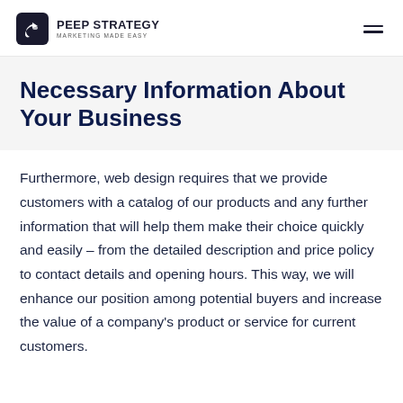PEEP STRATEGY MARKETING MADE EASY
Necessary Information About Your Business
Furthermore, web design requires that we provide customers with a catalog of our products and any further information that will help them make their choice quickly and easily – from the detailed description and price policy to contact details and opening hours. This way, we will enhance our position among potential buyers and increase the value of a company's product or service for current customers.